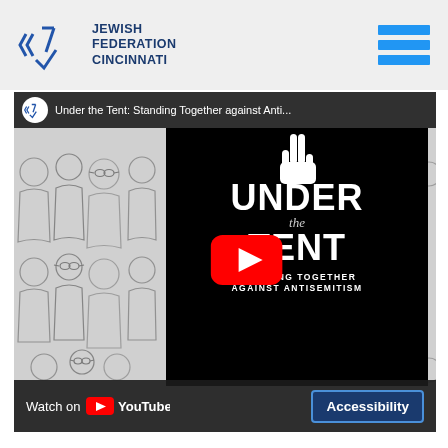[Figure (logo): Jewish Federation Cincinnati logo with Star of David icon and text]
[Figure (screenshot): YouTube video embed showing 'Under the Tent: Standing Together against Antisemitism' with play button, crowd background illustration, and center black panel with text 'UNDER the TENT STANDING TOGETHER AGAINST ANTISEMITISM']
Watch on YouTube
Accessibility